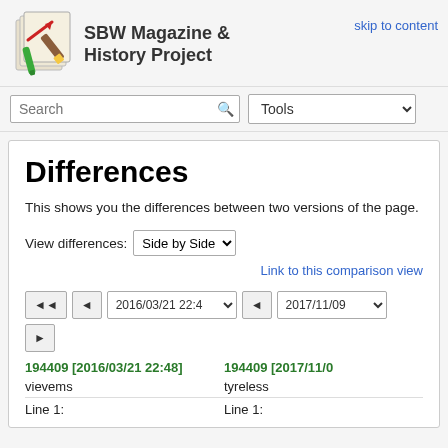SBW Magazine & History Project
skip to content
Differences
This shows you the differences between two versions of the page.
View differences: Side by Side
Link to this comparison view
194409 [2016/03/21 22:48]   vievems   Line 1:
194409 [2017/11/0   tyreless   Line 1: